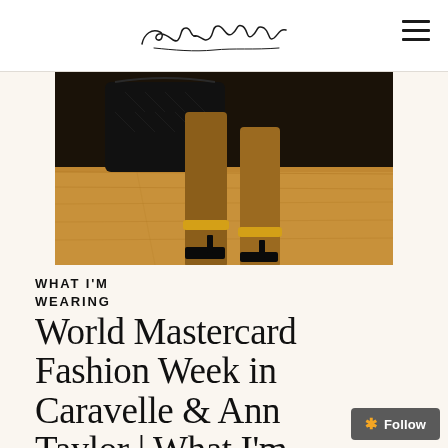SashaEadon (cursive logo signature)
[Figure (photo): Close-up photo of a woman's legs and feet wearing black high-heel sandals with gold ankle cuffs, holding a black quilted handbag, standing on a wooden floor.]
WHAT I'M WEARING
World Mastercard Fashion Week in Caravelle & Ann Taylor | What I'm